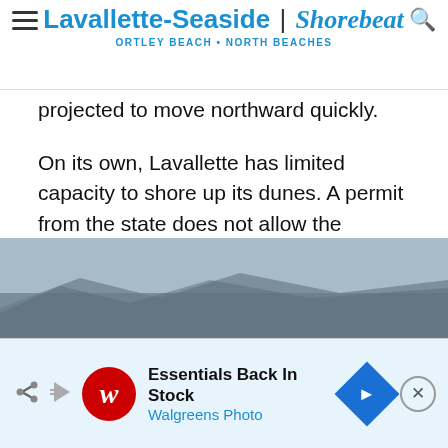Lavallette-Seaside | Shorebeat
ORTLEY BEACH • NORTH BEACHES
projected to move northward quickly.
On its own, Lavallette has limited capacity to shore up its dunes. A permit from the state does not allow the borough to move entrances or create berms as has occurred in Ortley and Seaside Heights. Fines may be imposed if they do. The policy is traced back to beach replenishment projects after the 1962 nor'easter and a 1983 renourishment project under which regulations were imposed on the town.
[Figure (photo): Partial aerial or ground-level photo showing a rooftop or coastal structure, sky and grey tones, partially cut off at bottom of content area.]
Essentials Back In Stock
Walgreens Photo